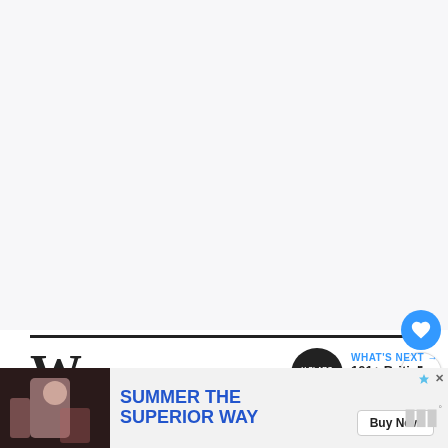[Figure (other): Large white/light gray empty content area at top of page, likely where main article image or content was]
[Figure (other): UI element: blue circular heart/like button, count badge showing '1', and share button with plus icon, positioned on right side]
W
[Figure (other): WHAT'S NEXT arrow label in blue with thumbnail circle showing 'H SLARG' text, title: '101+ British Slang Insult...']
[Figure (photo): Advertisement banner at bottom: dark background with photo of person at bar on left, ad text 'SUMMER THE SUPERIOR WAY' with Buy Now button, Moog logo on far right, close/skip controls in corner]